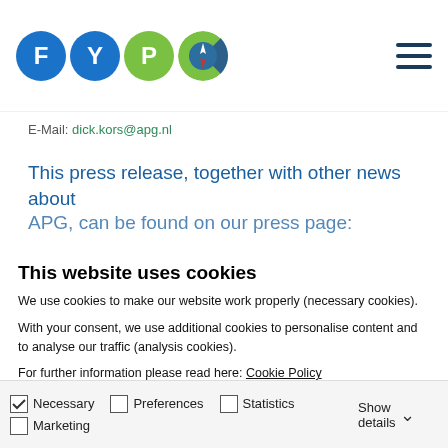[Figure (logo): FYP logo with four colored circles: F (blue), Y (blue), P (green), compass (blue-green)]
E-Mail: dick.kors@apg.nl
This press release, together with other news about APG, can be found on our press page:
This website uses cookies
We use cookies to make our website work properly (necessary cookies).
With your consent, we use additional cookies to personalise content and to analyse our traffic (analysis cookies).
For further information please read here: Cookie Policy
Allow all cookies
Allow selection
Only necessary cookies
Necessary  Preferences  Statistics  Marketing  Show details